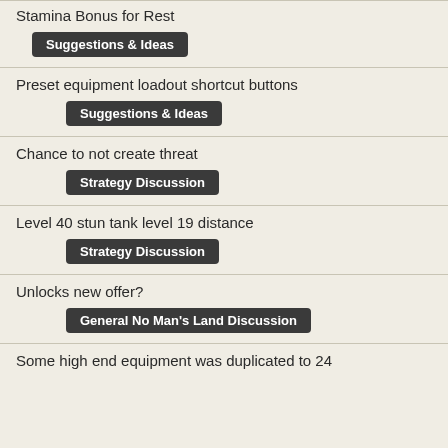Stamina Bonus for Rest
Suggestions & Ideas
Preset equipment loadout shortcut buttons
Suggestions & Ideas
Chance to not create threat
Strategy Discussion
Level 40 stun tank level 19 distance
Strategy Discussion
Unlocks new offer?
General No Man's Land Discussion
Some high end equipment was duplicated to 24